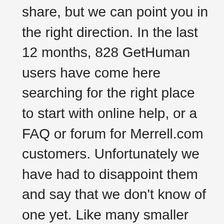share, but we can point you in the right direction. In the last 12 months, 828 GetHuman users have come here searching for the right place to start with online help, or a FAQ or forum for Merrell.com customers. Unfortunately we have had to disappoint them and say that we don't know of one yet. Like many smaller businesses, Merrell.com has a phone number, even though they don't have a comprehensive online knowledge base where you can search for your problem and find answers. Customers like you are looking for help online for a large array of reasons, ie Returns. Hopefully, Merrell.com will build a web-based presence soon to address common problems and questions. Given that Merrell.com does not have an online help forum or comprehensive FAQ, we recommend trying one of the other ways to reach